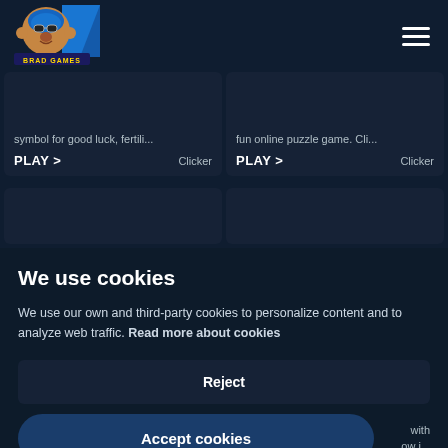[Figure (logo): Brad Games logo: cartoon monkey with goggles wearing a helmet, with blue arrow shape and text BRAD GAMES]
symbol for good luck, fertili...
fun online puzzle game. Cli...
PLAY >
Clicker
PLAY >
Clicker
We use cookies
We use our own and third-party cookies to personalize content and to analyze web traffic. Read more about cookies
Reject
Accept cookies
with ow i...
PLAY >
Clicker
PLAY >
Adventure